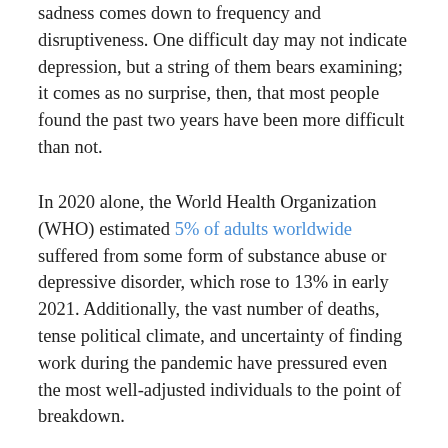sadness comes down to frequency and disruptiveness. One difficult day may not indicate depression, but a string of them bears examining; it comes as no surprise, then, that most people found the past two years have been more difficult than not.
In 2020 alone, the World Health Organization (WHO) estimated 5% of adults worldwide suffered from some form of substance abuse or depressive disorder, which rose to 13% in early 2021. Additionally, the vast number of deaths, tense political climate, and uncertainty of finding work during the pandemic have pressured even the most well-adjusted individuals to the point of breakdown.
Recovery is possible both physically and mentally, but it takes time, resources, and dedication to get there; on top of that, medical resources focus primarily on dealing with the